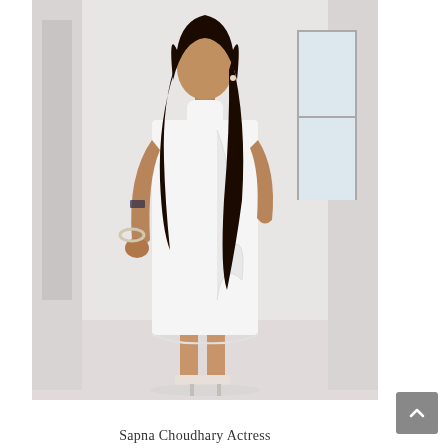[Figure (photo): A woman wearing a white midi dress with a mock neck and draped ruffle detail down the front, paired with white strappy heels. She is posing in a white room with architectural columns visible in the background. She has long dark hair and a tattoo on her left forearm.]
Sapna Choudhary Actress